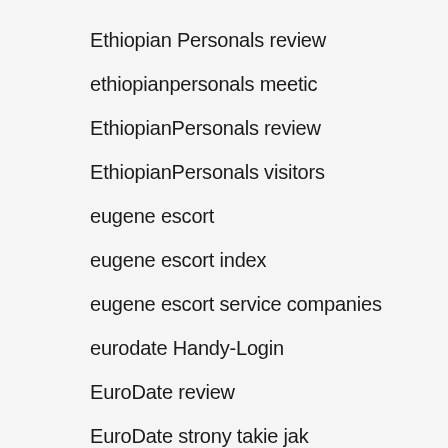Ethiopian Personals review
ethiopianpersonals meetic
EthiopianPersonals review
EthiopianPersonals visitors
eugene escort
eugene escort index
eugene escort service companies
eurodate Handy-Login
EuroDate review
EuroDate strony takie jak
eurodate Veut discuter